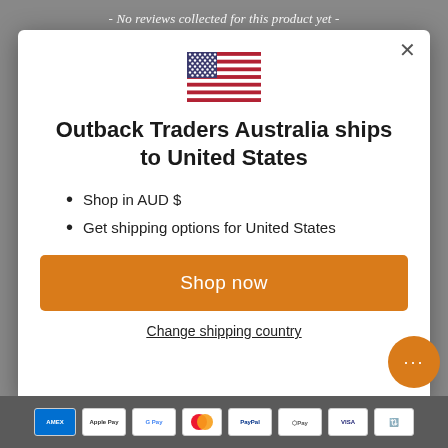- No reviews collected for this product yet -
[Figure (illustration): US flag emoji]
Outback Traders Australia ships to United States
Shop in AUD $
Get shipping options for United States
Shop now
Change shipping country